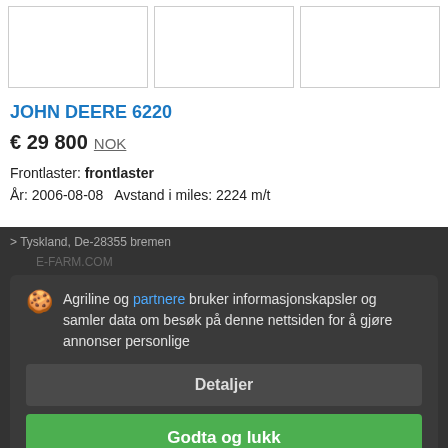[Figure (photo): Three placeholder image boxes in a row for product listing]
JOHN DEERE 6220
€ 29 800  NOK
Frontlaster: frontlaster
År: 2006-08-08   Avstand i miles: 2224 m/t
> Tyskland, De-28355 bremen
Agriline og partnere bruker informasjonskapsler og samler data om besøk på denne nettsiden for å gjøre annonser personlige
Detaljer
Godta og lukk